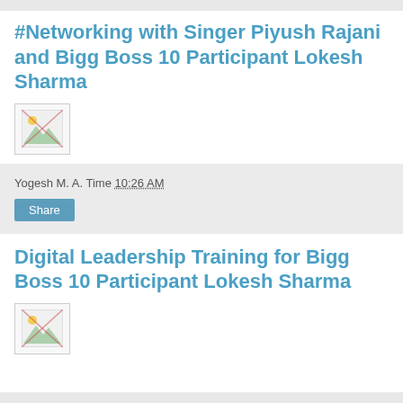#Networking with Singer Piyush Rajani and Bigg Boss 10 Participant Lokesh Sharma
[Figure (photo): Broken/missing image placeholder thumbnail]
Yogesh M. A. Time 10:26 AM
Share
Digital Leadership Training for Bigg Boss 10 Participant Lokesh Sharma
[Figure (photo): Broken/missing image placeholder thumbnail]